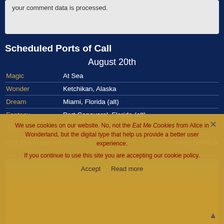your comment data is processed.
Scheduled Ports of Call
August 20th
| Ship | Port |
| --- | --- |
| Magic | At Sea |
| Wonder | Ketchikan, Alaska |
| Dream | Miami, Florida (alt) |
| Fantasy | Port Canaveral, Florida (alt) |
| Wish | Nassau, Bahamas (alt) |
Click port to see web cams.   Tweet Schedule
[Figure (illustration): Pixar Day at Sea promotional image with text 'Pixar Day at Sea Sailing January–March 2023']
We use cookies on our website. No, not the Eat Me Cookies from Alice in Wonderland, but the digital type that help us provide a better user experience. If you continue to use this site you are accepting our cookie policy.
Accept   Read more